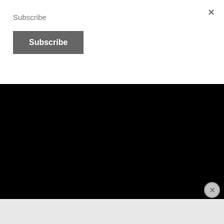×
Subscribe
Subscribe
Follow Betty Dickinson on the Healthy Corner page
LEARN NEW THINGS
Trilingual
Advertisements
Launch your online course with WordPress  Learn More